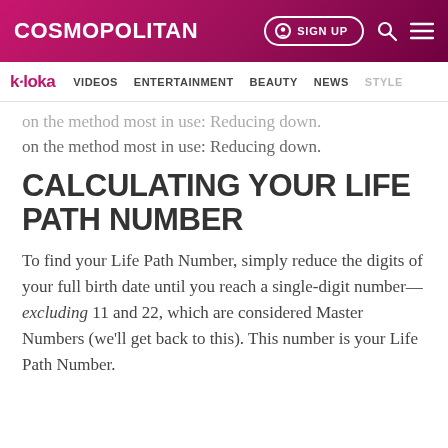COSMOPOLITAN   SIGN UP
k·loka   VIDEOS   ENTERTAINMENT   BEAUTY   NEWS   STYLE
on the method most in use: Reducing down.
CALCULATING YOUR LIFE PATH NUMBER
To find your Life Path Number, simply reduce the digits of your full birth date until you reach a single-digit number—excluding 11 and 22, which are considered Master Numbers (we'll get back to this). This number is your Life Path Number.